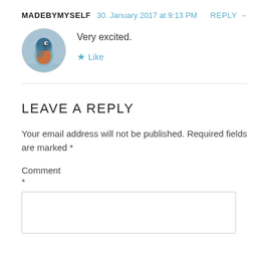MADEBYMYSELF   30. January 2017 at 9:13 PM   REPLY →
[Figure (photo): Circular avatar image of a kingfisher bird]
Very excited.
★ Like
LEAVE A REPLY
Your email address will not be published. Required fields are marked *
Comment
*